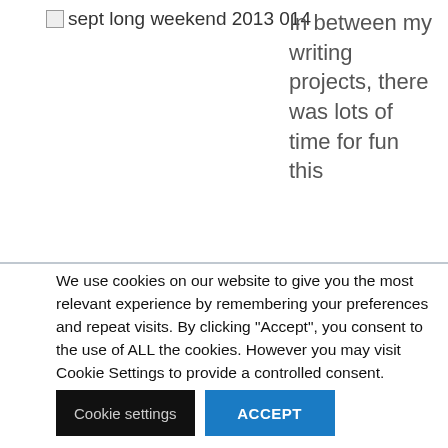[Figure (photo): Broken image placeholder labeled 'sept long weekend 2013 014']
In between my writing projects, there was lots of time for fun this
We use cookies on our website to give you the most relevant experience by remembering your preferences and repeat visits. By clicking “Accept”, you consent to the use of ALL the cookies. However you may visit Cookie Settings to provide a controlled consent.